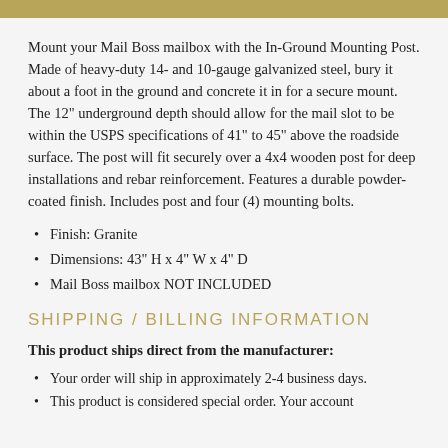Mount your Mail Boss mailbox with the In-Ground Mounting Post. Made of heavy-duty 14- and 10-gauge galvanized steel, bury it about a foot in the ground and concrete it in for a secure mount. The 12" underground depth should allow for the mail slot to be within the USPS specifications of 41" to 45" above the roadside surface. The post will fit securely over a 4x4 wooden post for deep installations and rebar reinforcement. Features a durable powder-coated finish. Includes post and four (4) mounting bolts.
Finish: Granite
Dimensions: 43" H x 4" W x 4" D
Mail Boss mailbox NOT INCLUDED
SHIPPING / BILLING INFORMATION
This product ships direct from the manufacturer:
Your order will ship in approximately 2-4 business days.
This product is considered special order. Your account...